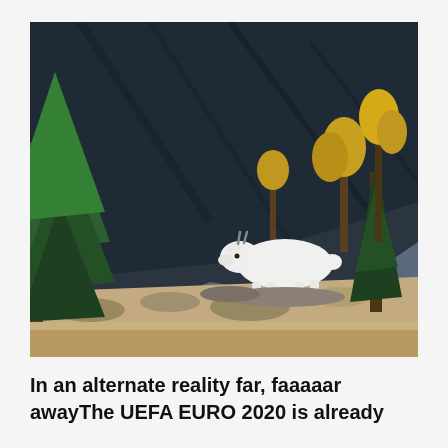[Figure (photo): A white mountain goat standing on rocky terrain with dark rocky cliffs and autumn-colored conifer trees in the background.]
In an alternate reality far, faaaaar awayThe UEFA EURO 2020 is already